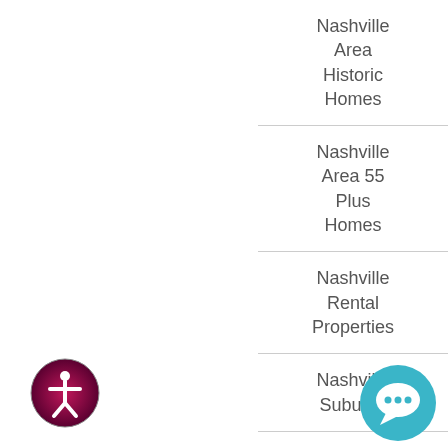Nashville Area Historic Homes
Nashville Area 55 Plus Homes
Nashville Rental Properties
Nashville Suburbs
Featured Ashton Team
[Figure (logo): Accessibility icon — circular badge with dark red/pink gradient border and a white human figure silhouette in the center]
[Figure (logo): Chat/messaging icon — teal-blue circular button with a speech bubble symbol]